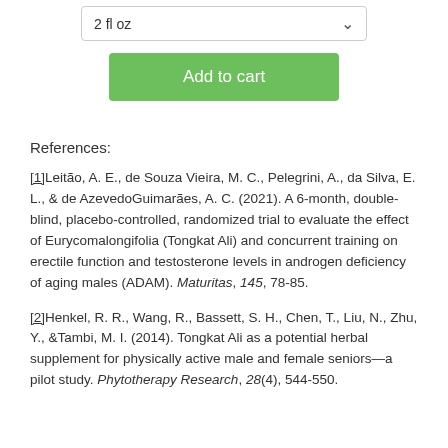2 fl oz
Add to cart
References:
[1]Leitão, A. E., de Souza Vieira, M. C., Pelegrini, A., da Silva, E. L., & de AzevedoGuimarães, A. C. (2021). A 6-month, double-blind, placebo-controlled, randomized trial to evaluate the effect of Eurycomalongifolia (Tongkat Ali) and concurrent training on erectile function and testosterone levels in androgen deficiency of aging males (ADAM). Maturitas, 145, 78-85.
[2]Henkel, R. R., Wang, R., Bassett, S. H., Chen, T., Liu, N., Zhu, Y., &Tambi, M. I. (2014). Tongkat Ali as a potential herbal supplement for physically active male and female seniors—a pilot study. Phytotherapy Research, 28(4), 544-550.